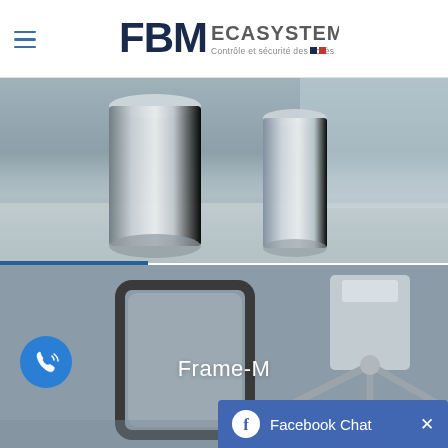FBM ECASYSTEM - Contrôle et sécurité des accès
[Figure (photo): Close-up photo of stainless steel bollards/turnstile posts on a grey floor, viewed from below]
[Figure (photo): Photo of a tripod turnstile (Frame-M model) with a rectangular barrier frame on the left, shown against a grey background]
Frame-M
Facebook Chat